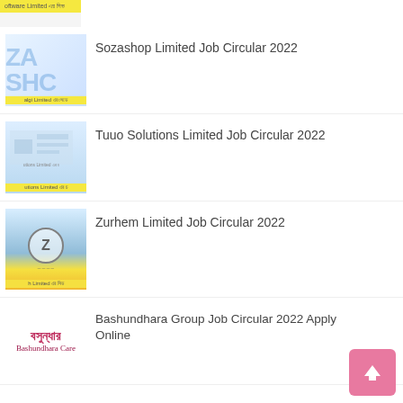[Figure (other): Partial thumbnail at top showing yellow label with text 'oftware Limited এর সিভ']
Sozashop Limited Job Circular 2022
Tuuo Solutions Limited Job Circular 2022
Zurhem Limited Job Circular 2022
Bashundhara Group Job Circular 2022 Apply Online